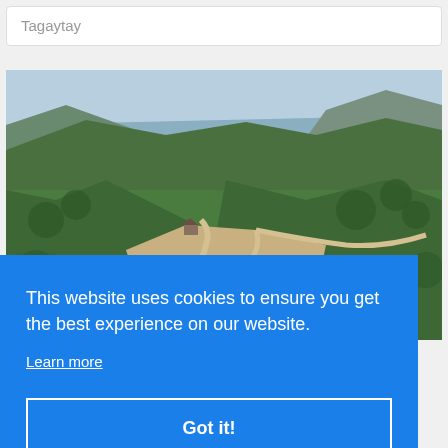Tagaytay
[Figure (photo): Aerial view of Tagaytay landscape with winding roads through green hills and Taal Lake visible in the background with mountains]
This website uses cookies to ensure you get the best experience on our website.
Learn more
Got it!